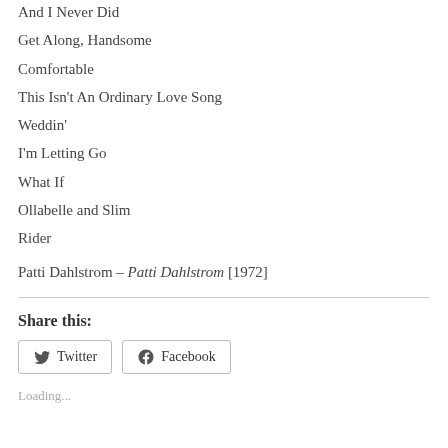And I Never Did
Get Along, Handsome
Comfortable
This Isn’t An Ordinary Love Song
Weddin’
I’m Letting Go
What If
Ollabelle and Slim
Rider
Patti Dahlstrom – Patti Dahlstrom [1972]
Share this:
Twitter  Facebook
Loading...